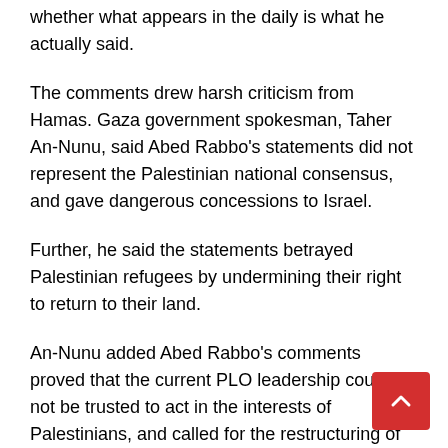whether what appears in the daily is what he actually said.
The comments drew harsh criticism from Hamas. Gaza government spokesman, Taher An-Nunu, said Abed Rabbo’s statements did not represent the Palestinian national consensus, and gave dangerous concessions to Israel.
Further, he said the statements betrayed Palestinian refugees by undermining their right to return to their land.
An-Nunu added Abed Rabbo’s comments proved that the current PLO leadership could not be trusted to act in the interests of Palestinians, and called for the restructuring of